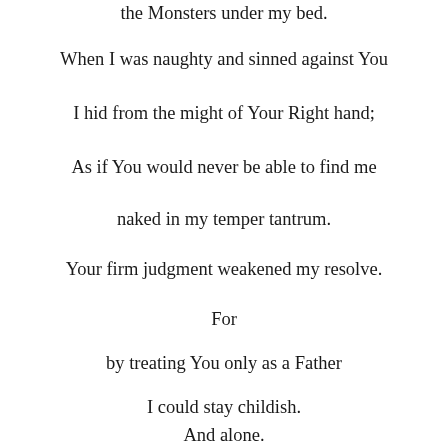the Monsters under my bed.
When I was naughty and sinned against You
I hid from the might of Your Right hand;
As if You would never be able to find me
naked in my temper tantrum.
Your firm judgment weakened my resolve.
For
by treating You only as a Father
I could stay childish.
And alone.